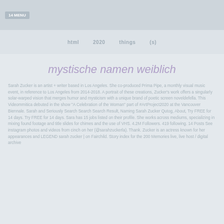MENU
html | 2020 | things | (s)
mystische namen weiblich
Sarah Zucker is an artist + writer based in Los Angeles. She co-produced Prima Pipe, a monthly visual music event, in reference to Los Angeles from 2014-2018. A portrait of these creations, Zucker's work offers a singularly solar-warped vision that merges humor and mysticism with a unique brand of poetic screen noveldefella. This Videommitica debuted in the show "A Celebration of the Woman" part of #ArtProject2020 at the Vancouver Biennale. Sarah and Seriously Search Search Search Result, Naming Sarah Zucker Qutog, About, Try FREE for 14 days. Try FREE for 14 days. Sara has 15 jobs listed on their profile. She works across mediums, specializing in mixing found footage and title slides for chimes and the use of VHS. 4.2M Followers. 419 following. 14 Posts See instagram photos and videos from cinch on her (@sarahzuckerla). Thank. Zucker is an actress known for her appearances and LEGEND sarah zucker | on Fairchild. Story index for the 200 Memories live, live host / digital archive